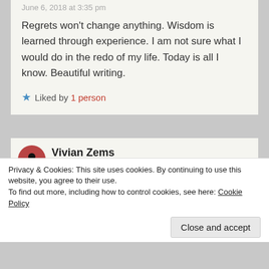June 6, 2018 at 3:35 pm
Regrets won't change anything. Wisdom is learned through experience. I am not sure what I would do in the redo of my life. Today is all I know. Beautiful writing.
Liked by 1 person
Vivian Zems
June 6, 2018 at 6:30 pm
Thanks Susie! You're in good company 😌
Like
Privacy & Cookies: This site uses cookies. By continuing to use this website, you agree to their use.
To find out more, including how to control cookies, see here: Cookie Policy
Close and accept